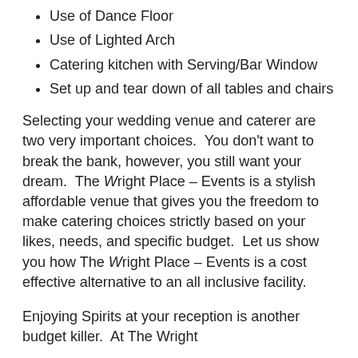Use of Dance Floor
Use of Lighted Arch
Catering kitchen with Serving/Bar Window
Set up and tear down of all tables and chairs
Selecting your wedding venue and caterer are two very important choices. You don't want to break the bank, however, you still want your dream. The Wright Place – Events is a stylish affordable venue that gives you the freedom to make catering choices strictly based on your likes, needs, and specific budget. Let us show you how The Wright Place – Events is a cost effective alternative to an all inclusive facility.
Enjoying Spirits at your reception is another budget killer. At The Wright